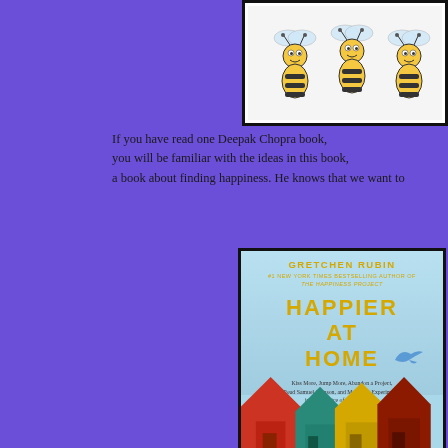[Figure (illustration): Three cartoon bees in a row against a white/light background, framed with a black border]
If you have read one Deepak Chopra book, you will be familiar with the ideas in this book, a book about finding happiness. He knows that we want to
[Figure (illustration): Book cover of 'Happier at Home' by Gretchen Rubin, #1 New York Times Bestselling Author of The Happiness Project. Subtitle: Kiss More, Jump More, Abandon a Project, Read Samuel Johnson, and My Other Experiments in the Practice of Everyday Life. Cover features yellow block letters on a sky-blue background with a flying blue bird and colorful houses at the bottom.]